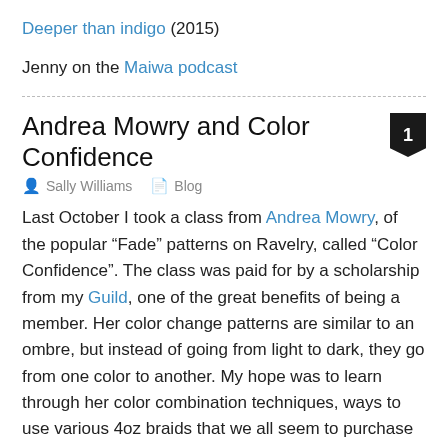Deeper than indigo (2015)
Jenny on the Maiwa podcast
Andrea Mowry and Color Confidence
Sally Williams   Blog
Last October I took a class from Andrea Mowry, of the popular “Fade” patterns on Ravelry, called “Color Confidence”. The class was paid for by a scholarship from my Guild, one of the great benefits of being a member. Her color change patterns are similar to an ombre, but instead of going from light to dark, they go from one color to another. My hope was to learn through her color combination techniques, ways to use various 4oz braids that we all seem to purchase without necessarily having any plan for. Her patterns primarily use the speckled,